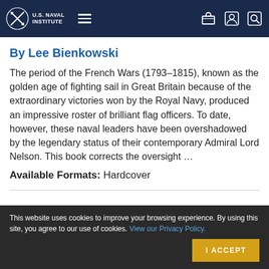U.S. Naval Institute
By Lee Bienkowski
The period of the French Wars (1793–1815), known as the golden age of fighting sail in Great Britain because of the extraordinary victories won by the Royal Navy, produced an impressive roster of brilliant flag officers. To date, however, these naval leaders have been overshadowed by the legendary status of their contemporary Admiral Lord Nelson. This book corrects the oversight …
Available Formats: Hardcover
This website uses cookies to improve your browsing experience. By using this site, you agree to our use of cookies. View our Privacy Policy.